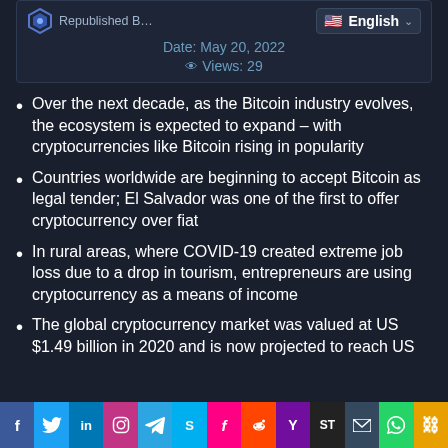Republished B... | Date: May 20, 2022 | Views: 29
Over the next decade, as the Bitcoin industry evolves, the ecosystem is expected to expand – with cryptocurrencies like Bitcoin rising in popularity
Countries worldwide are beginning to accept Bitcoin as legal tender; El Salvador was one of the first to offer cryptocurrency over fiat
In rural areas, where COVID-19 created extreme job loss due to a drop in tourism, entrepreneurs are using cryptocurrency as a means of income
The global cryptocurrency market was valued at US $1.49 billion in 2020 and is now projected to reach US
f  Twitter  in  Instagram  Telegram  Skype  Flipboard  Reddit  Y  ST  Mail  WhatsApp  Link